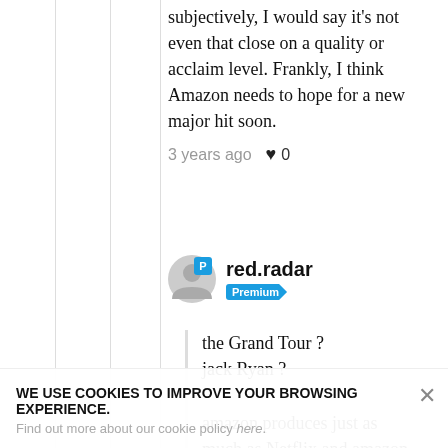subjectively, I would say it's not even that close on a quality or acclaim level. Frankly, I think Amazon needs to hope for a new major hit soon.
3 years ago  ♥ 0
red.radar
Premium
the Grand Tour ?
jack Ryan ?
amazon produces just as much as Netflix and amazon produces some family friendly kid shows
WE USE COOKIES TO IMPROVE YOUR BROWSING EXPERIENCE.
Find out more about our cookie policy here.